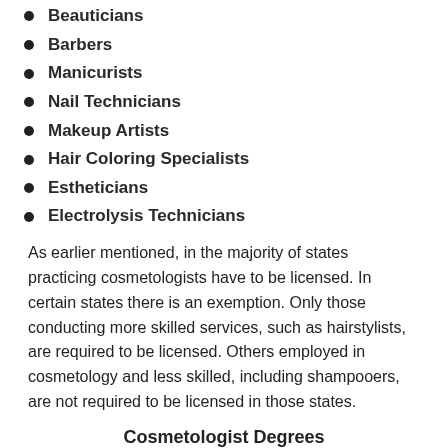Beauticians
Barbers
Manicurists
Nail Technicians
Makeup Artists
Hair Coloring Specialists
Estheticians
Electrolysis Technicians
As earlier mentioned, in the majority of states practicing cosmetologists have to be licensed. In certain states there is an exemption. Only those conducting more skilled services, such as hairstylists, are required to be licensed. Others employed in cosmetology and less skilled, including shampooers, are not required to be licensed in those states.
Cosmetologist Degrees
There are primarily
[Figure (photo): Photo of a person in a cosmetology or hair styling context]